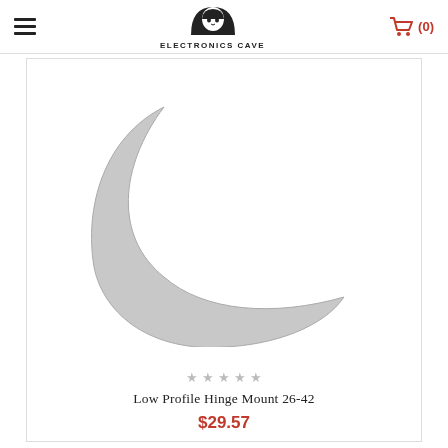ELECTRONICS CAVE
[Figure (photo): Product image showing a crescent moon arc shape in light gray on white background, representing a Low Profile Hinge Mount 26-42]
Low Profile Hinge Mount 26-42
$29.57